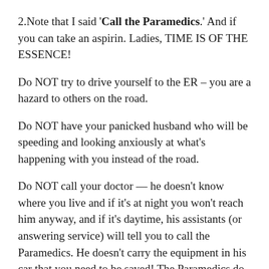2.Note that I said 'Call the Paramedics.' And if you can take an aspirin. Ladies, TIME IS OF THE ESSENCE!
Do NOT try to drive yourself to the ER – you are a hazard to others on the road.
Do NOT have your panicked husband who will be speeding and looking anxiously at what's happening with you instead of the road.
Do NOT call your doctor — he doesn't know where you live and if it's at night you won't reach him anyway, and if it's daytime, his assistants (or answering service) will tell you to call the Paramedics. He doesn't carry the equipment in his car that you need to be saved! The Paramedics do, principally OXYGEN that you need ASAP. Your Dr will be notified later.